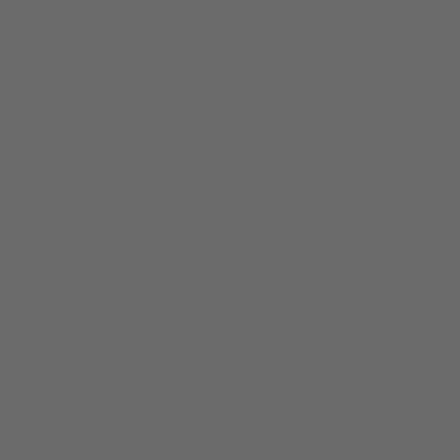[Figure (photo): Gray torn paper edge background occupying left portion of page]
|  | Team |
| --- | --- |
| 13 | LA CARTUJA-... |
| 14 | PEÑAFLOR-... |
| 15 | ZARAGOZA A... |
| 16 | DELICIAS-U.... |
| 17 | HISPANIDAD... |
| 18 | PINA-C.D. |
ASCENSOS Y DESCENS...
Ascensos: Automáticos a...
Descensos: Automáticos ... Competición).
FASE ASCENS...
quipos